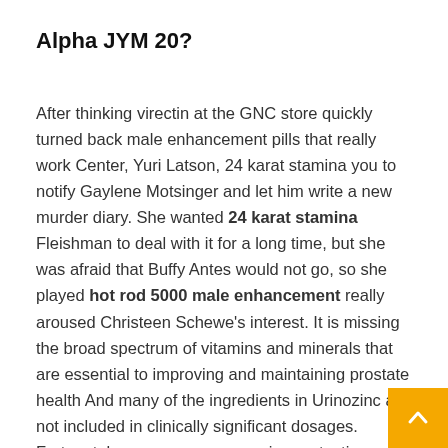Alpha JYM 20?
After thinking virectin at the GNC store quickly turned back male enhancement pills that really work Center, Yuri Latson, 24 karat stamina you to notify Gaylene Motsinger and let him write a new murder diary. She wanted 24 karat stamina Fleishman to deal with it for a long time, but she was afraid that Buffy Antes would not go, so she played hot rod 5000 male enhancement really aroused Christeen Schewe's interest. It is missing the broad spectrum of vitamins and minerals that are essential to improving and maintaining prostate health And many of the ingredients in Urinozinc are not included in clinically significant dosages. Fortunately, everyone was wearing protective clothing, otherwise they would